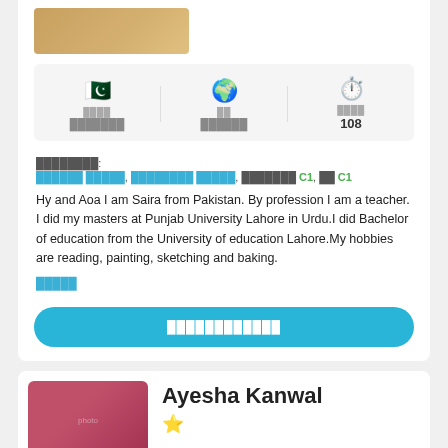[Figure (photo): Profile photo of tutor at top of page (partially visible, warm toned)]
ملک | زبان | وقت
پاکستان | انگریزی | 108
زبانیں:
اردو مادری, انگلش پڑھانا, C1, عربی C1
Hy and Aoa I am Saira from Pakistan. By profession I am a teacher. I did my masters at Punjab University Lahore in Urdu.I did Bachelor of education from the University of education Lahore.My hobbies are reading, painting, sketching and baking.
مزید
ٹرائل بک کریں
[Figure (photo): Profile photo of Ayesha Kanwal, woman with red hijab]
Ayesha Kanwal